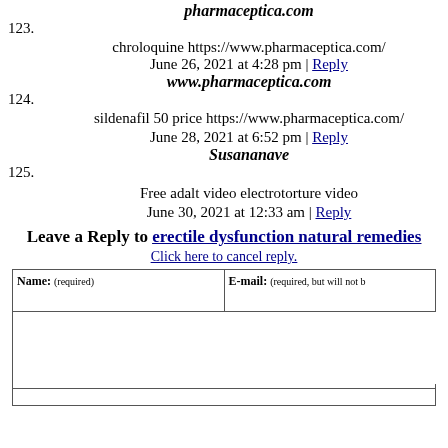123. pharmaceptica.com
chroloquine https://www.pharmaceptica.com/
June 26, 2021 at 4:28 pm | Reply
124. www.pharmaceptica.com
sildenafil 50 price https://www.pharmaceptica.com/
June 28, 2021 at 6:52 pm | Reply
125. Susananave
Free adalt video electrotorture video
June 30, 2021 at 12:33 am | Reply
Leave a Reply to erectile dysfunction natural remedies
Click here to cancel reply.
| Name: (required) | E-mail: (required, but will not be published) |
| --- | --- |
|  |  |